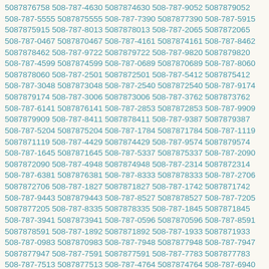5087876758 508-787-4630 5087874630 508-787-9052 5087879052 508-787-5555 5087875555 508-787-7390 5087877390 508-787-5915 5087875915 508-787-8013 5087878013 508-787-2065 5087872065 508-787-0467 5087870467 508-787-4161 5087874161 508-787-8462 5087878462 508-787-9722 5087879722 508-787-9820 5087879820 508-787-4599 5087874599 508-787-0689 5087870689 508-787-8060 5087878060 508-787-2501 5087872501 508-787-5412 5087875412 508-787-3048 5087873048 508-787-2540 5087872540 508-787-9174 5087879174 508-787-3006 5087873006 508-787-3762 5087873762 508-787-6141 5087876141 508-787-2853 5087872853 508-787-9909 5087879909 508-787-8411 5087878411 508-787-9387 5087879387 508-787-5204 5087875204 508-787-1784 5087871784 508-787-1119 5087871119 508-787-4429 5087874429 508-787-9574 5087879574 508-787-1645 5087871645 508-787-5337 5087875337 508-787-2090 5087872090 508-787-4948 5087874948 508-787-2314 5087872314 508-787-6381 5087876381 508-787-8333 5087878333 508-787-2706 5087872706 508-787-1827 5087871827 508-787-1742 5087871742 508-787-9443 5087879443 508-787-8527 5087878527 508-787-7205 5087877205 508-787-8335 5087878335 508-787-1845 5087871845 508-787-3941 5087873941 508-787-0596 5087870596 508-787-8591 5087878591 508-787-1892 5087871892 508-787-1933 5087871933 508-787-0983 5087870983 508-787-7948 5087877948 508-787-7947 5087877947 508-787-7591 5087877591 508-787-7783 5087877783 508-787-7513 5087877513 508-787-4764 5087874764 508-787-6940 5087876940 508-787-9347 5087879347 508-787-4872 5087874872 508-787-1210 5087871210 508-787-2807 5087872807 508-787-2915